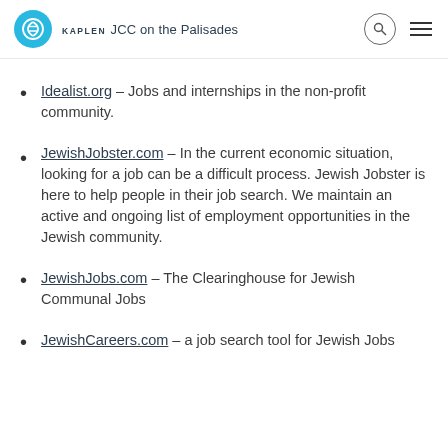KAPLEN JCC on the Palisades
Idealist.org – Jobs and internships in the non-profit community.
JewishJobster.com – In the current economic situation, looking for a job can be a difficult process. Jewish Jobster is here to help people in their job search. We maintain an active and ongoing list of employment opportunities in the Jewish community.
JewishJobs.com – The Clearinghouse for Jewish Communal Jobs
JewishCareers.com – a job search tool for Jewish Jobs